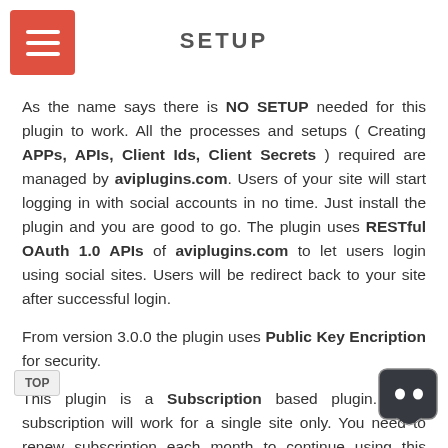SETUP
As the name says there is NO SETUP needed for this plugin to work. All the processes and setups ( Creating APPs, APIs, Client Ids, Client Secrets ) required are managed by aviplugins.com. Users of your site will start logging in with social accounts in no time. Just install the plugin and you are good to go. The plugin uses RESTful OAuth 1.0 APIs of aviplugins.com to let users login using social sites. Users will be redirect back to your site after successful login.
From version 3.0.0 the plugin uses Public Key Encription for security.
This plugin is a Subscription based plugin. Each subscription will work for a single site only. You need to renew subscription each month to continue using this plugin. Subscription renewal price is $1.00 / Month or $9.00 / Year